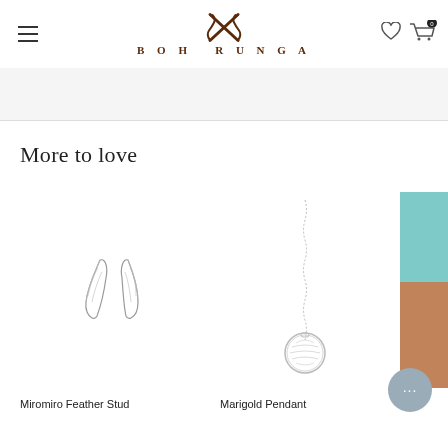Boh Runga
More to love
[Figure (photo): Silver feather stud earrings on white background]
Miromiro Feather Stud
[Figure (photo): Silver Marigold pendant necklace on white background]
Marigold Pendant
[Figure (photo): Partial product image with teal and skin-tone background, cropped at right edge]